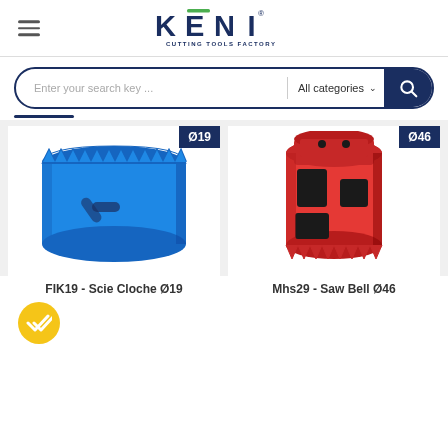KENI - CUTTING TOOLS FACTORY
Enter your search key ... All categories
[Figure (photo): Blue hole saw / scie cloche with diameter 19mm badge]
FIK19 - Scie Cloche Ø19
[Figure (photo): Red hole saw / saw bell with diameter 46mm badge]
Mhs29 - Saw Bell Ø46